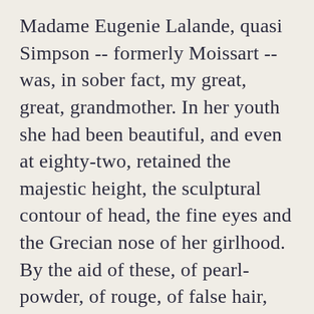Madame Eugenie Lalande, quasi Simpson -- formerly Moissart -- was, in sober fact, my great, great, grandmother. In her youth she had been beautiful, and even at eighty-two, retained the majestic height, the sculptural contour of head, the fine eyes and the Grecian nose of her girlhood. By the aid of these, of pearl-powder, of rouge, of false hair, false teeth, and false tournure, as well as of the most skilful modistes of Paris, she contrived to hold a respectable footing among the beauties en peu passees of the French metropolis. In